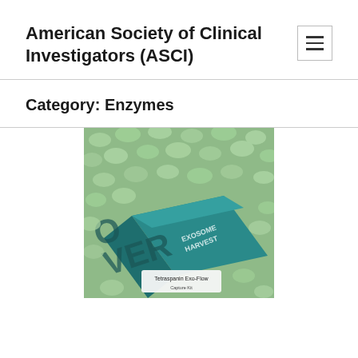American Society of Clinical Investigators (ASCI)
Category: Enzymes
[Figure (photo): Photo of a Tetraspanin Exo-Flow product box/kit surrounded by green packing peanuts, with text 'EXOSOME HARVEST' visible on the packaging.]